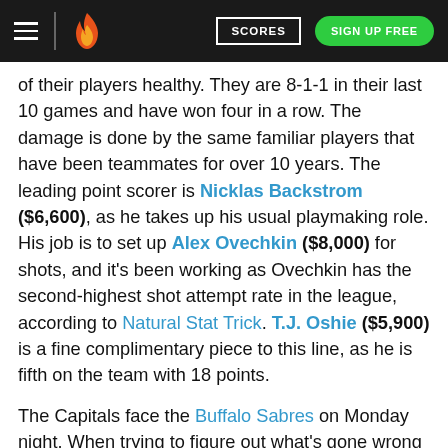Scores | Sign Up Free
of their players healthy. They are 8-1-1 in their last 10 games and have won four in a row. The damage is done by the same familiar players that have been teammates for over 10 years. The leading point scorer is Nicklas Backstrom ($6,600), as he takes up his usual playmaking role. His job is to set up Alex Ovechkin ($8,000) for shots, and it's been working as Ovechkin has the second-highest shot attempt rate in the league, according to Natural Stat Trick. T.J. Oshie ($5,900) is a fine complimentary piece to this line, as he is fifth on the team with 18 points.
The Capitals face the Buffalo Sabres on Monday night. When trying to figure out what's gone wrong for the Sabres this season, the answer is just about everything. They are last in the East and have just